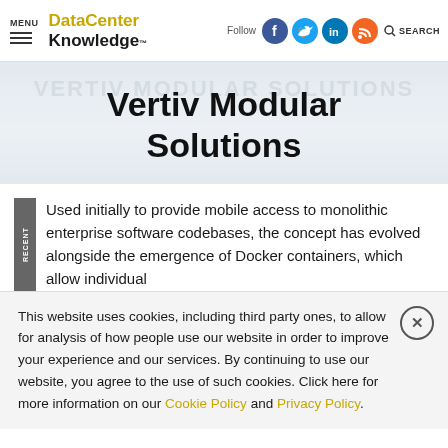MENU — DataCenter Knowledge — Follow — SEARCH
Vertiv Modular Solutions
Used initially to provide mobile access to monolithic enterprise software codebases, the concept has evolved alongside the emergence of Docker containers, which allow individual
This website uses cookies, including third party ones, to allow for analysis of how people use our website in order to improve your experience and our services. By continuing to use our website, you agree to the use of such cookies. Click here for more information on our Cookie Policy and Privacy Policy.